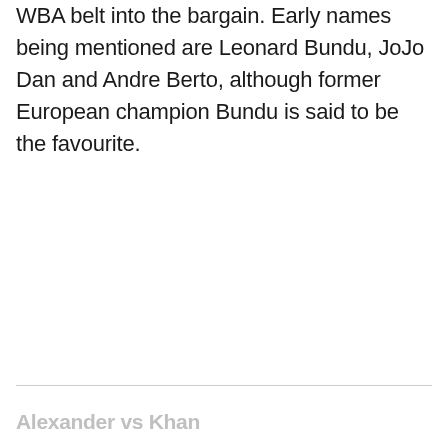WBA belt into the bargain. Early names being mentioned are Leonard Bundu, JoJo Dan and Andre Berto, although former European champion Bundu is said to be the favourite.
Alexander vs Khan